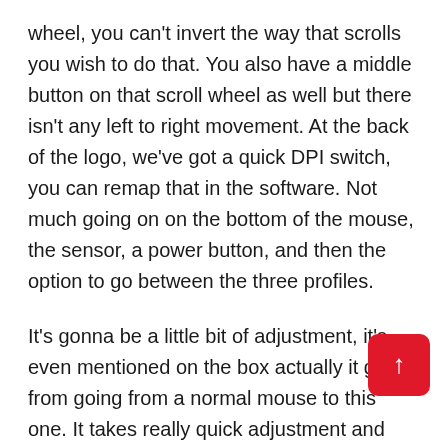wheel, you can't invert the way that scrolls you wish to do that. You also have a middle button on that scroll wheel as well but there isn't any left to right movement. At the back of the logo, we've got a quick DPI switch, you can remap that in the software. Not much going on on the bottom of the mouse, the sensor, a power button, and then the option to go between the three profiles.
It's gonna be a little bit of adjustment, it's even mentioned on the box actually it got from going from a normal mouse to this one. It takes really quick adjustment and after you kind of get used to the fact that you're moving the bottom of your wrist unlike having it flat, it was really easy to adjust to. You do have to put a little bit more pressure kind of with a clamping motion, so you're not dragging your hand along the desk. If you're gonna be using a mousepad, it's not too much of a problem but